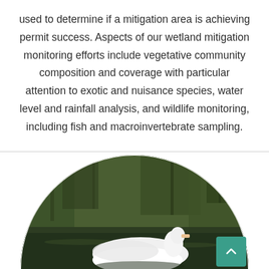used to determine if a mitigation area is achieving permit success. Aspects of our wetland mitigation monitoring efforts include vegetative community composition and coverage with particular attention to exotic and nuisance species, water level and rainfall analysis, and wildlife monitoring, including fish and macroinvertebrate sampling.
[Figure (photo): Circular cropped photo of a white bird (swan or egret) swimming on dark water with out-of-focus green vegetation in the background. The image is cropped in a semicircle/arch shape. A teal back-to-top button is visible in the lower right corner.]